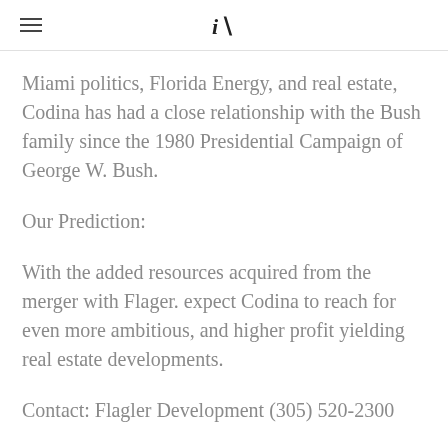iA
Miami politics, Florida Energy, and real estate, Codina has had a close relationship with the Bush family since the 1980 Presidential Campaign of George W. Bush.
Our Prediction:
With the added resources acquired from the merger with Flager. expect Codina to reach for even more ambitious, and higher profit yielding real estate developments.
Contact: Flagler Development (305) 520-2300